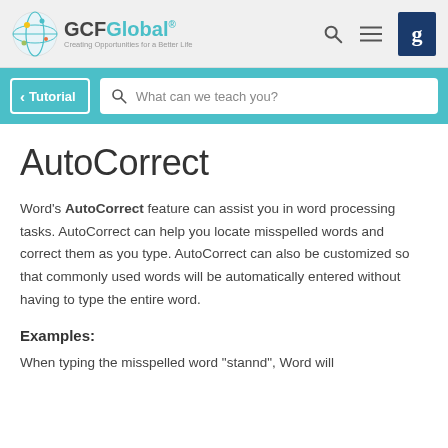GCFGlobal - Creating Opportunities for a Better Life
AutoCorrect
Word's AutoCorrect feature can assist you in word processing tasks. AutoCorrect can help you locate misspelled words and correct them as you type. AutoCorrect can also be customized so that commonly used words will be automatically entered without having to type the entire word.
Examples:
When typing the misspelled word "stannd", Word will